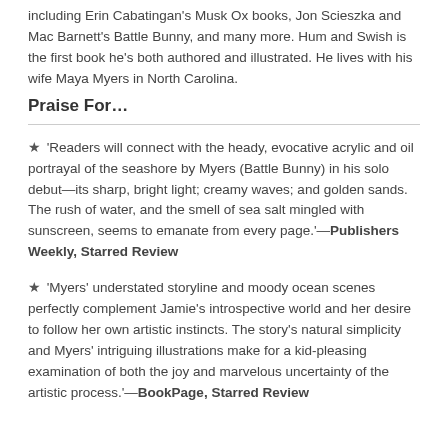including Erin Cabatingan's Musk Ox books, Jon Scieszka and Mac Barnett's Battle Bunny, and many more. Hum and Swish is the first book he's both authored and illustrated. He lives with his wife Maya Myers in North Carolina.
Praise For…
★ 'Readers will connect with the heady, evocative acrylic and oil portrayal of the seashore by Myers (Battle Bunny) in his solo debut—its sharp, bright light; creamy waves; and golden sands. The rush of water, and the smell of sea salt mingled with sunscreen, seems to emanate from every page.'—Publishers Weekly, Starred Review
★ 'Myers' understated storyline and moody ocean scenes perfectly complement Jamie's introspective world and her desire to follow her own artistic instincts. The story's natural simplicity and Myers' intriguing illustrations make for a kid-pleasing examination of both the joy and marvelous uncertainty of the artistic process.'—BookPage, Starred Review